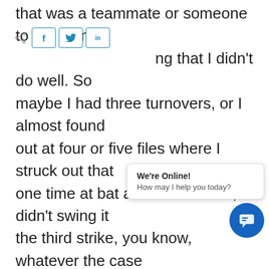that was a teammate or someone to the team, or it was something that I didn't do well. So maybe I had three turnovers, or I almost found out at four or five files where I struck out that one time at bat and I watched it, I didn't swing it the third strike, you know, whatever the case was, and that applied to school that applied everything like, so no matter what everyone around you, is in your father's eyes is better than you in some way. Not that you're not good in certain ways but there better. So what you end up doing is you drive yourself crazy trying to prove yourself first, la manifested into r…ry… self to yourself. And you know this is
[Figure (other): Social share bar with share icon, Facebook (f), Twitter, and LinkedIn buttons]
[Figure (other): Live chat widget popup with 'We're Online!' and 'How may I help you today?' message, and a blue circular chat icon button]